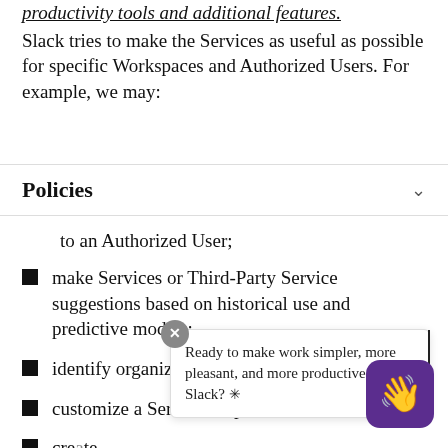productivity tools and additional features. Slack tries to make the Services as useful as possible for specific Workspaces and Authorized Users. For example, we may:
Policies
to an Authorized User;
make Services or Third-Party Service suggestions based on historical use and predictive models;
identify organizational trends and insights;
customize a Services experience; or
create [tooltip overlaps] produ[c]...
Ready to make work simpler, more pleasant, and more productive with Slack? ✳
It is in our interest and in the interest of